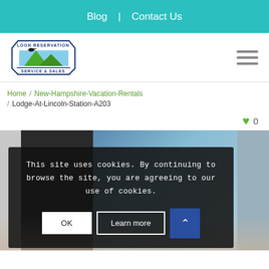Blog | Contact Us
[Figure (logo): Loon Reservation Service & Sales logo — hexagonal border with mountains and loon bird, blue and green colors]
Home / New-Hampshire-Vacation-Rentals / Lodge-At-Lincoln-Station-A203
♥ 0
[Figure (photo): Exterior photo of Lodge At Lincoln Station A203, showing building exterior with trees and winter scenery]
This site uses cookies. By continuing to browse the site, you are agreeing to our use of cookies.
OK   Learn more   ↑